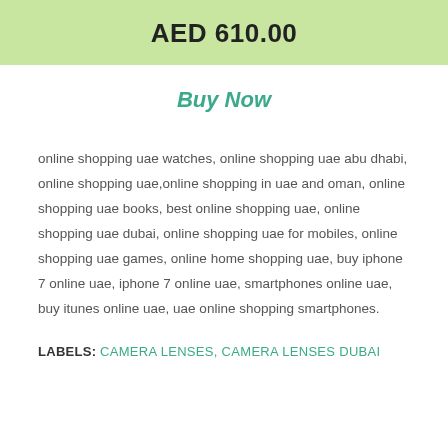AED 610.00
Buy Now
online shopping uae watches, online shopping uae abu dhabi, online shopping uae,online shopping in uae and oman, online shopping uae books, best online shopping uae, online shopping uae dubai, online shopping uae for mobiles, online shopping uae games, online home shopping uae, buy iphone 7 online uae, iphone 7 online uae, smartphones online uae, buy itunes online uae, uae online shopping smartphones.
LABELS: CAMERA LENSES, CAMERA LENSES DUBAI